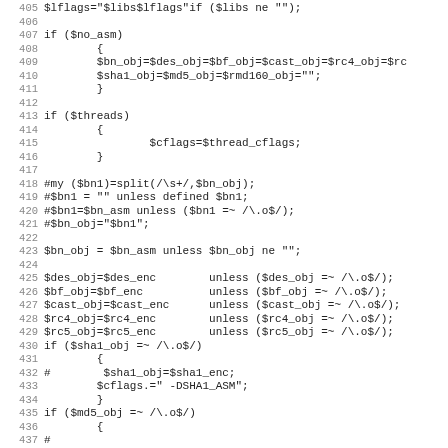Source code listing, lines 405-437, Perl/shell script
[Figure (screenshot): Code listing showing Perl script lines 405-437 dealing with assembly, threading, and object file conditionals]